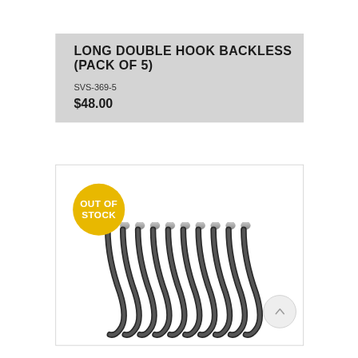LONG DOUBLE HOOK BACKLESS (PACK OF 5)
SVS-369-5
$48.00
[Figure (photo): Product photo of multiple long double hook backless items (approximately 10 hooks shown), black curved metal hooks with silver threaded tops, arranged side by side. An 'OUT OF STOCK' yellow circle badge is overlaid on the upper left of the image.]